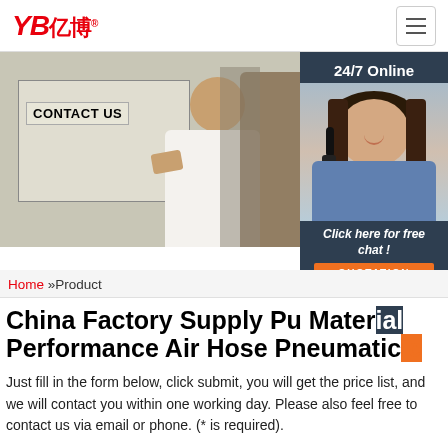[Figure (logo): YB亿博 logo in red italic bold text]
[Figure (screenshot): Banner photo showing a man giving thumbs up next to a CONTACT US sign; overlaid with a 24/7 Online chat widget showing a female customer service operator with headset, 'Click here for free chat!' text and an orange QUOTATION button]
Home »Product
China Factory Supply Pu Material Performance Air Hose Pneumatic
Just fill in the form below, click submit, you will get the price list, and we will contact you within one working day. Please also feel free to contact us via email or phone. (* is required).